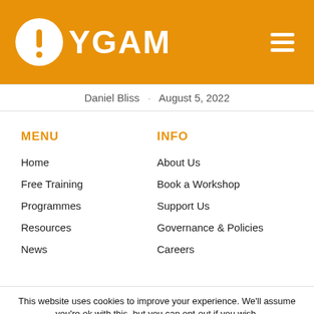[Figure (logo): YGAM logo with white circular icon containing an exclamation mark, and white text YGAM on orange background, with hamburger menu icon top right]
Daniel Bliss · August 5, 2022
MENU
Home
Free Training
Programmes
Resources
News
INFO
About Us
Book a Workshop
Support Us
Governance & Policies
Careers
This website uses cookies to improve your experience. We'll assume you're ok with this, but you can opt-out if you wish.
Cookie settings   ACCEPT